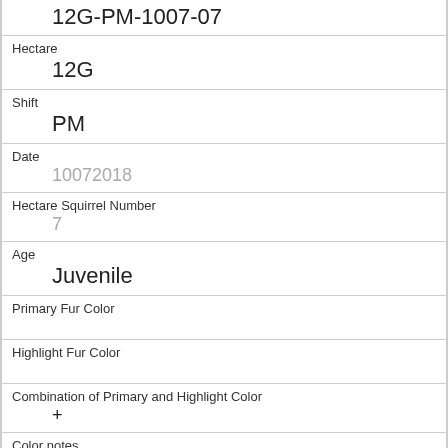12G-PM-1007-07
Hectare
12G
Shift
PM
Date
10072018
Hectare Squirrel Number
7
Age
Juvenile
Primary Fur Color
Highlight Fur Color
Combination of Primary and Highlight Color
+
Color notes
Location
Above Ground